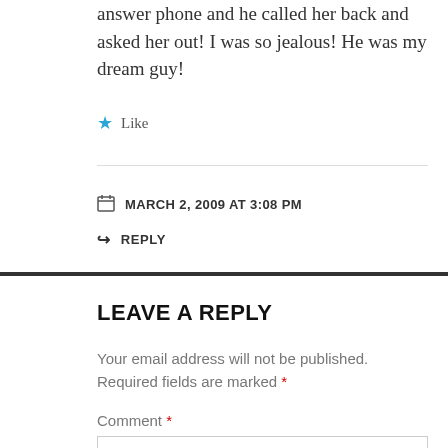answer phone and he called her back and asked her out! I was so jealous! He was my dream guy!
★ Like
MARCH 2, 2009 AT 3:08 PM
↪ REPLY
LEAVE A REPLY
Your email address will not be published. Required fields are marked *
Comment *